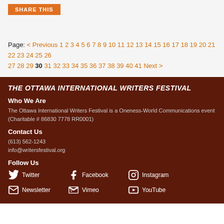SHARE THIS
Page: < Previous 1 2 3 4 5 6 7 8 9 10 11 12 13 14 15 16 17 18 19 20 21 22 23 24 25 26 27 28 29 30 31 32 33 34 35 36 37 38 39 40 41 Next >
THE OTTAWA INTERNATIONAL WRITERS FESTIVAL
Who We Are
The Ottawa International Writers Festival is a Oneness-World Communications event (Charitable # 86830 7778 RR0001)
Contact Us
(613) 562-1243
info@writersfestival.org
Follow Us
Twitter  Facebook  Instagram  Newsletter  Vimeo  YouTube